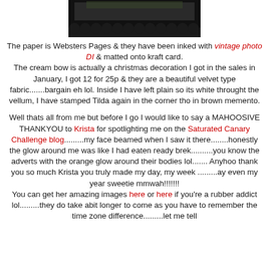[Figure (photo): Top portion of a craft card with dark/black scalloped border and decorative paper visible, photo cropped at top]
The paper is Websters Pages & they have been inked with vintage photo DI & matted onto kraft card. The cream bow is actually a christmas decoration I got in the sales in January, I got 12 for 25p & they are a beautiful velvet type fabric.......bargain eh lol. Inside I have left plain so its white throught the vellum, I have stamped Tilda again in the corner tho in brown memento.
Well thats all from me but before I go I would like to say a MAHOOSIVE THANKYOU to Krista for spotlighting me on the Saturated Canary Challenge blog.........my face beamed when I saw it there........honestly the glow around me was like I had eaten ready brek..........you know the adverts with the orange glow around their bodies lol....... Anyhoo thank you so much Krista you truly made my day, my week .........ay even my year sweetie mmwah!!!!!!! You can get her amazing images here or here if you're a rubber addict lol.........they do take abit longer to come as you have to remember the time zone difference.........let me tell